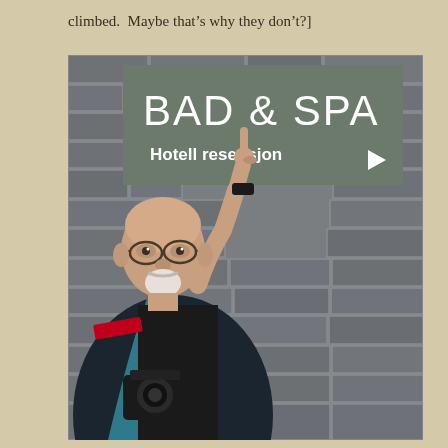climbed.  Maybe that’s why they don’t?]
[Figure (photo): A bald man with glasses and a white goatee, wearing a black t-shirt and carrying a Canon DSLR camera with a teal camera bag strap, points upward with his right index finger at a hotel sign mounted on a stone wall. The sign reads 'BAD & SPA' in large white letters and 'Hotell resepsjon' with a right-pointing arrow below.]